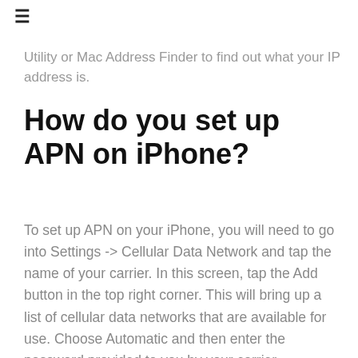≡
Utility or Mac Address Finder to find out what your IP address is.
How do you set up APN on iPhone?
To set up APN on your iPhone, you will need to go into Settings -> Cellular Data Network and tap the name of your carrier. In this screen, tap the Add button in the top right corner. This will bring up a list of cellular data networks that are available for use. Choose Automatic and then enter the password provided to you by your carrier.